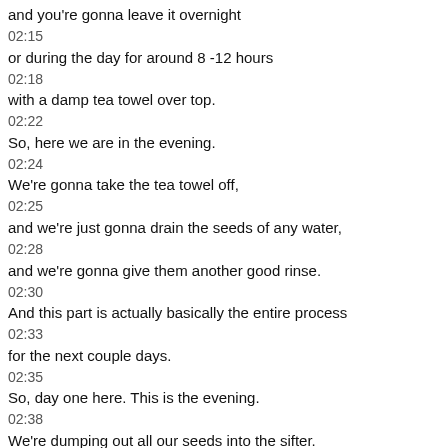and you're gonna leave it overnight
02:15
or during the day for around 8 -12 hours
02:18
with a damp tea towel over top.
02:22
So, here we are in the evening.
02:24
We're gonna take the tea towel off,
02:25
and we're just gonna drain the seeds of any water,
02:28
and we're gonna give them another good rinse.
02:30
And this part is actually basically the entire process
02:33
for the next couple days.
02:35
So, day one here. This is the evening.
02:38
We're dumping out all our seeds into the sifter.
02:40
We're gonna rinse out our jar.